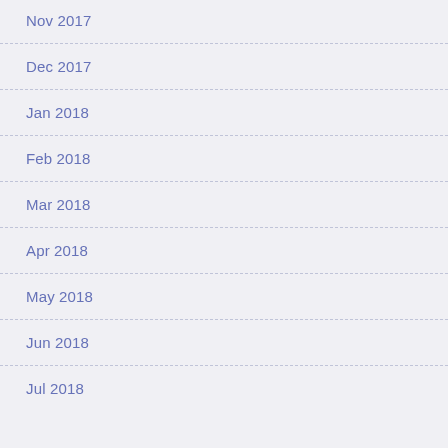Nov 2017
Dec 2017
Jan 2018
Feb 2018
Mar 2018
Apr 2018
May 2018
Jun 2018
Jul 2018